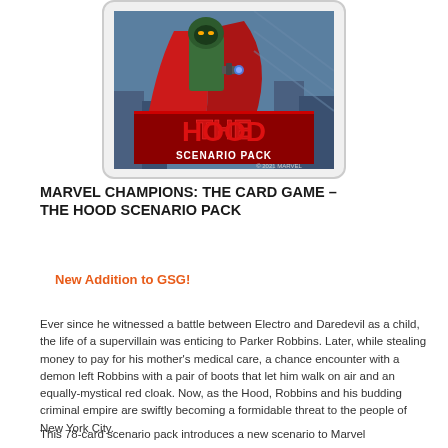[Figure (illustration): The Hood Scenario Pack card game box art showing a villain in a red cloak and green outfit, with 'THE HOOD' in large red letters and 'SCENARIO PACK' text below. Copyright 2021 Marvel.]
MARVEL CHAMPIONS: THE CARD GAME – THE HOOD SCENARIO PACK
New Addition to GSG!
Ever since he witnessed a battle between Electro and Daredevil as a child, the life of a supervillain was enticing to Parker Robbins. Later, while stealing money to pay for his mother's medical care, a chance encounter with a demon left Robbins with a pair of boots that let him walk on air and an equally-mystical red cloak. Now, as the Hood, Robbins and his budding criminal empire are swiftly becoming a formidable threat to the people of New York City.
This 78-card scenario pack introduces a new scenario to Marvel